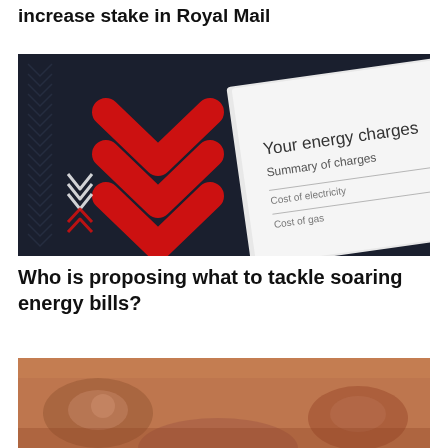increase stake in Royal Mail
[Figure (photo): Photo showing red upward-pointing chevron arrows on dark background alongside an energy bill document showing 'Your energy charges', 'Summary of charges', 'Cost of electricity', 'Cost of gas']
Who is proposing what to tackle soaring energy bills?
[Figure (photo): Partial photo showing terracotta or clay-coloured textured surface, possibly ancient artefacts or fossils]